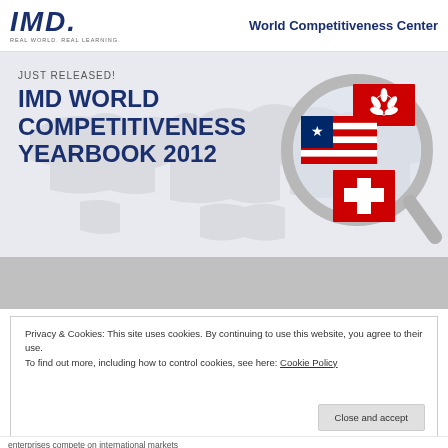IMD — REAL WORLD. REAL LEARNING. | World Competitiveness Center
[Figure (illustration): Banner image for IMD World Competitiveness Yearbook 2012 with magnifying glass showing flags of USA, Hong Kong, and Switzerland over a world map background]
JUST RELEASED! IMD WORLD COMPETITIVENESS YEARBOOK 2012
Privacy & Cookies: This site uses cookies. By continuing to use this website, you agree to their use. To find out more, including how to control cookies, see here: Cookie Policy
enterprises compete on international markets